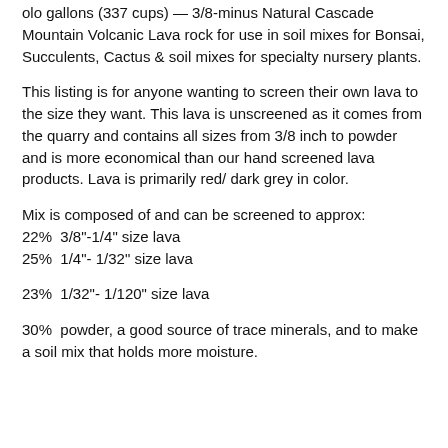olo gallons (337 cups) — 3/8-minus Natural Cascade Mountain Volcanic Lava rock for use in soil mixes for Bonsai, Succulents, Cactus & soil mixes for specialty nursery plants.
This listing is for anyone wanting to screen their own lava to the size they want. This lava is unscreened as it comes from the quarry and contains all sizes from 3/8 inch to powder and is more economical than our hand screened lava products. Lava is primarily red/ dark grey in color.
Mix is composed of and can be screened to approx:
22%  3/8"-1/4" size lava
25%  1/4"- 1/32" size lava
23%  1/32"- 1/120" size lava
30%  powder, a good source of trace minerals, and to make a soil mix that holds more moisture.